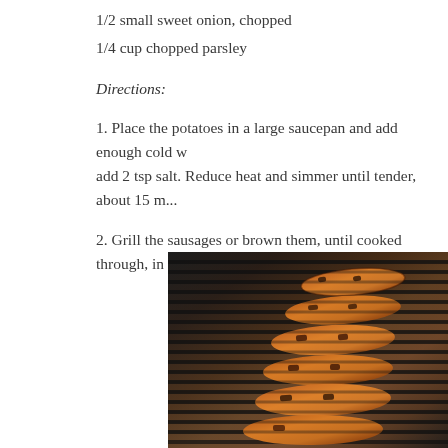1/2 small sweet onion, chopped
1/4 cup chopped parsley
Directions:
1. Place the potatoes in a large saucepan and add enough cold w... add 2 tsp salt. Reduce heat and simmer until tender, about 15 m...
2. Grill the sausages or brown them, until cooked through, in a s...
[Figure (photo): Grilled sausages arranged on a ridged grill pan, showing char marks and glistening browned surfaces]